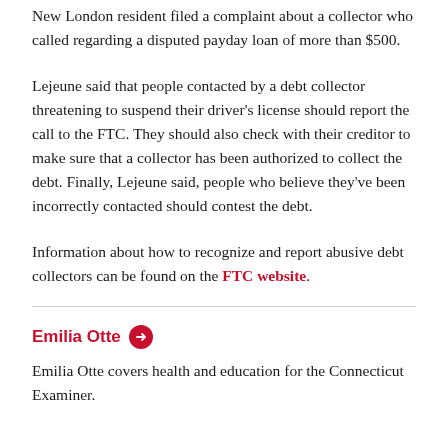New London resident filed a complaint about a collector who called regarding a disputed payday loan of more than $500.
Lejeune said that people contacted by a debt collector threatening to suspend their driver's license should report the call to the FTC. They should also check with their creditor to make sure that a collector has been authorized to collect the debt. Finally, Lejeune said, people who believe they've been incorrectly contacted should contest the debt.
Information about how to recognize and report abusive debt collectors can be found on the FTC website.
Emilia Otte
Emilia Otte covers health and education for the Connecticut Examiner.